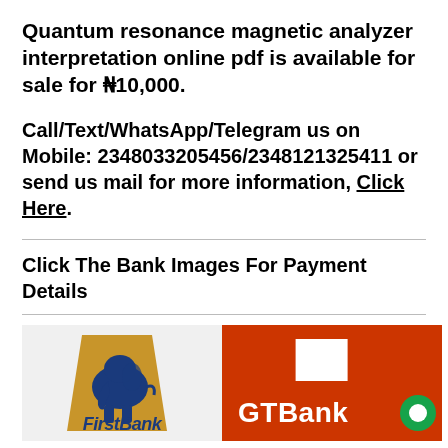Quantum resonance magnetic analyzer interpretation online pdf is available for sale for ₦10,000.
Call/Text/WhatsApp/Telegram us on Mobile: 2348033205456/2348121325411 or send us mail for more information, Click Here.
Click The Bank Images For Payment Details
[Figure (logo): FirstBank Nigeria logo (elephant, gold and blue) and GTBank logo (orange background with white square and GTBank text), side by side bank payment images]